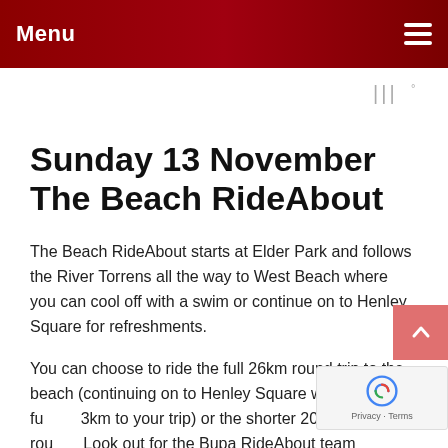Menu
[Figure (other): Weather widget showing temperature icon with degree symbol]
Sunday 13 November The Beach RideAbout
The Beach RideAbout starts at Elder Park and follows the River Torrens all the way to West Beach where you can cool off with a swim or continue on to Henley Square for refreshments.
You can choose to ride the full 26km round trip to the beach (continuing on to Henley Square will add a further 3km to your trip) or the shorter 20km and 10km routes. Look out for the Bupa RideAbout team members for...